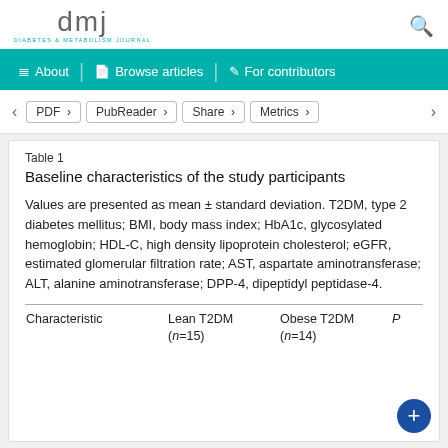dmj DIABETES & METABOLISM JOURNAL
Table 1
Baseline characteristics of the study participants
Values are presented as mean ± standard deviation. T2DM, type 2 diabetes mellitus; BMI, body mass index; HbA1c, glycosylated hemoglobin; HDL-C, high density lipoprotein cholesterol; eGFR, estimated glomerular filtration rate; AST, aspartate aminotransferase; ALT, alanine aminotransferase; DPP-4, dipeptidyl peptidase-4.
| Characteristic | Lean T2DM
(n=15) | Obese T2DM
(n=14) | P |
| --- | --- | --- | --- |